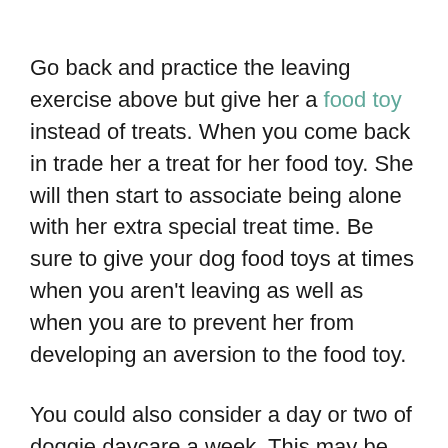Go back and practice the leaving exercise above but give her a food toy instead of treats. When you come back in trade her a treat for her food toy. She will then start to associate being alone with her extra special treat time. Be sure to give your dog food toys at times when you aren't leaving as well as when you are to prevent her from developing an aversion to the food toy.
You could also consider a day or two of doggie daycare a week. This may be good for her to expend some energy so that her other days are rest days. Playing music or other sounds while you